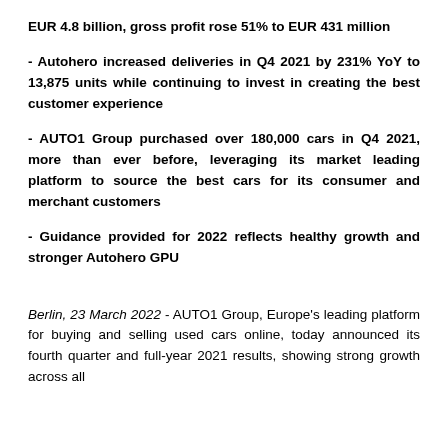EUR 4.8 billion, gross profit rose 51% to EUR 431 million
- Autohero increased deliveries in Q4 2021 by 231% YoY to 13,875 units while continuing to invest in creating the best customer experience
- AUTO1 Group purchased over 180,000 cars in Q4 2021, more than ever before, leveraging its market leading platform to source the best cars for its consumer and merchant customers
- Guidance provided for 2022 reflects healthy growth and stronger Autohero GPU
Berlin, 23 March 2022 - AUTO1 Group, Europe's leading platform for buying and selling used cars online, today announced its fourth quarter and full-year 2021 results, showing strong growth across all